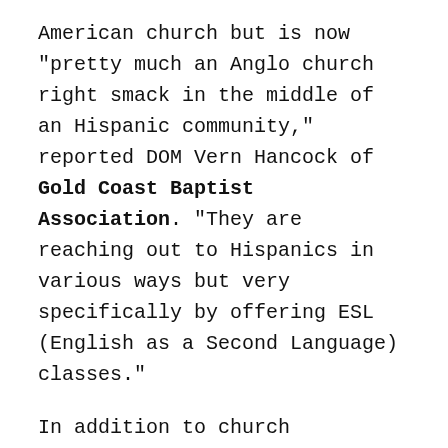American church but is now "pretty much an Anglo church right smack in the middle of an Hispanic community," reported DOM Vern Hancock of Gold Coast Baptist Association. "They are reaching out to Hispanics in various ways but very specifically by offering ESL (English as a Second Language) classes."
In addition to church programming and prayer, Dove serves through a jail ministry and Bikers for Christ, a motorcycle outreach.
Randy Bennett, DOM for Kern County Baptist Association, told the California Southern Baptist, "Valley Baptist Church (in Bakersfield) has a great story that needs to be told. They started working in southern Mexico a number of years ago. It has grown to the point…"